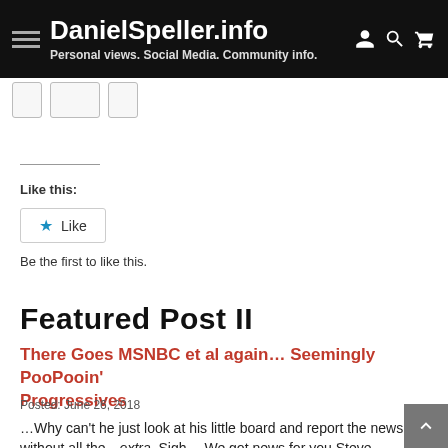DanielSpeller.info — Personal views. Social Media. Community info.
Like this:
Like
Be the first to like this.
Featured Post II
There Goes MSNBC et al again… Seemingly PooPooin' Progressives
Posted: June 26, 2018
…Why can't he just look at his little board and report the news without all the…extra.  Sigh… We got news for you Steve. Progressives are a force; and we will be heard-…